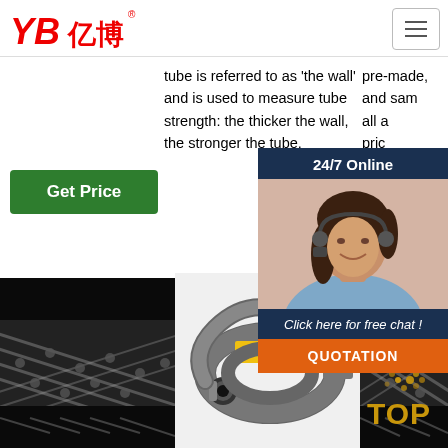[Figure (logo): YB 亿博 company logo in red italic text]
tube is referred to as 'the wall' and is used to measure tube strength: the thicker the wall, the stronger the tube.
pre-made, and sam... all a... pric...
Get Price
Get Price
G
24/7 Online
[Figure (photo): Customer service agent woman wearing headset smiling]
Click here for free chat !
QUOTATION
[Figure (photo): Black rubber hydraulic hose close-up left side]
[Figure (photo): YB Air Hose coiled rubber hose with yellow label]
[Figure (photo): Black rubber hydraulic hose close-up right side]
[Figure (logo): TOP logo with dot pattern in orange/gold]